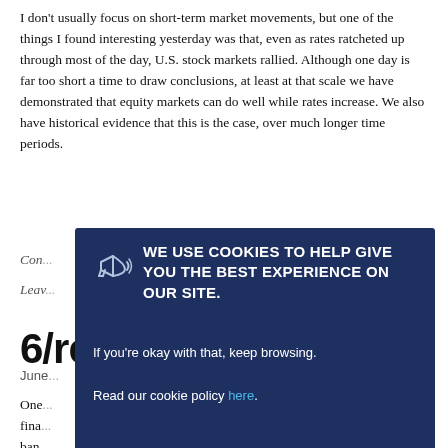I don't usually focus on short-term market movements, but one of the things I found interesting yesterday was that, even as rates ratcheted up through most of the day, U.S. stock markets rallied. Although one day is far too short a time to draw conclusions, at least at that scale we have demonstrated that equity markets can do well while rates increase. We also have historical evidence that this is the case, over much longer time periods.
Con...
Leav...
[Figure (screenshot): Cookie consent modal overlay with dark navy background. Contains megaphone icon, heading 'WE USE COOKIES TO HELP GIVE YOU THE BEST EXPERIENCE ON OUR SITE.', body text 'If you’re okay with that, keep browsing.', and 'Read our cookie policy here.' with a close (x) button in the bottom right.]
6/...re
June...
One... fina... ban... fit. In fa... n to the profit levels of the mid-2000s.